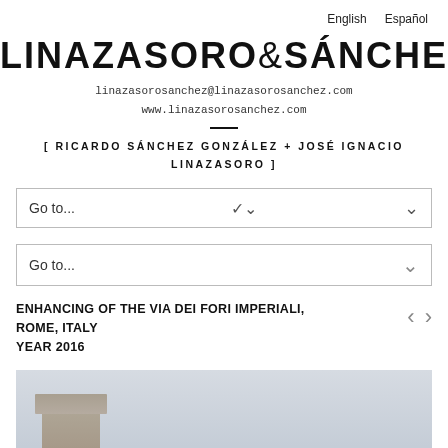English   Español
LINAZASORO&SÁNCHEZ
linazasorosanchez@linazasorosanchez.com
www.linazasorosanchez.com
[ RICARDO SÁNCHEZ GONZÁLEZ + JOSÉ IGNACIO LINAZASORO ]
Go to...
ENHANCING OF THE VIA DEI FORI IMPERIALI, ROME, ITALY
YEAR 2016
[Figure (photo): Partial view of ancient Roman column ruins against a cloudy sky, photo from the Enhancing of the Via dei Fori Imperiali project in Rome, Italy, 2016.]